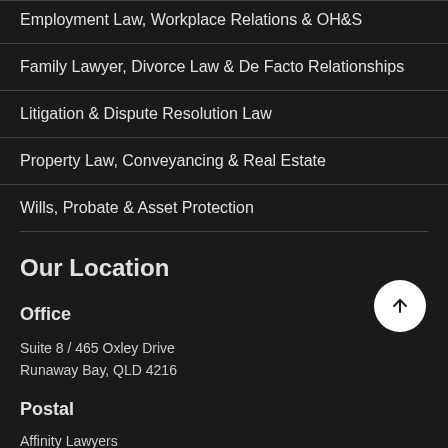Employment Law, Workplace Relations & OH&S
Family Lawyer, Divorce Law & De Facto Relationships
Litigation & Dispute Resolution Law
Property Law, Conveyancing & Real Estate
Wills, Probate & Asset Protection
Our Location
Office
Suite 8 / 465 Oxley Drive
Runaway Bay, QLD 4216
Postal
Affinity Lawyers